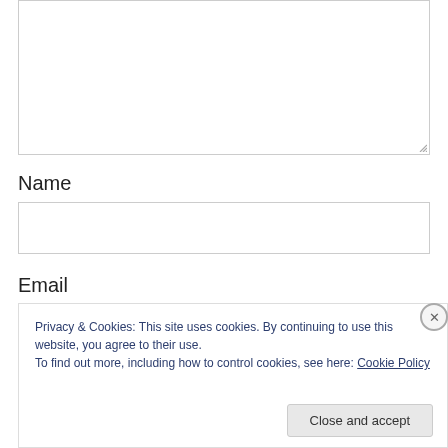[Figure (screenshot): A textarea form field (empty, with resize handle at bottom-right)]
Name
[Figure (screenshot): A text input field for Name (empty)]
Email
Privacy & Cookies: This site uses cookies. By continuing to use this website, you agree to their use.
To find out more, including how to control cookies, see here: Cookie Policy
Close and accept